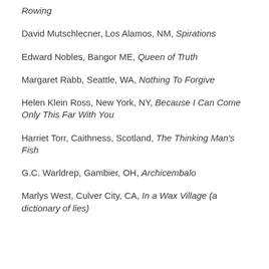Rowing
David Mutschlecner, Los Alamos, NM, Spirations
Edward Nobles, Bangor ME, Queen of Truth
Margaret Rabb, Seattle, WA, Nothing To Forgive
Helen Klein Ross, New York, NY, Because I Can Come Only This Far With You
Harriet Torr, Caithness, Scotland, The Thinking Man's Fish
G.C. Warldrep, Gambier, OH, Archicembalo
Marlys West, Culver City, CA, In a Wax Village (a dictionary of lies)